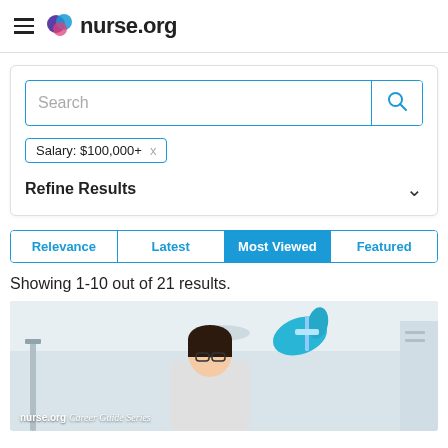nurse.org
Search
Salary: $100,000+
Refine Results
Relevance | Latest | Most Viewed | Featured
Showing 1-10 out of 21 results.
[Figure (photo): Nurse in lab coat and blue gloves examining medical equipment, with nurse.org Career Guide Series watermark at bottom left]